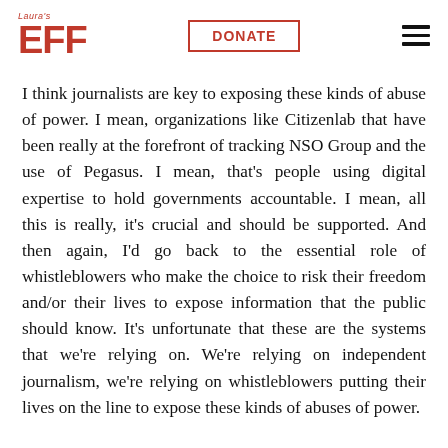Laura's EFF | DONATE | [menu]
I think journalists are key to exposing these kinds of abuse of power. I mean, organizations like Citizenlab that have been really at the forefront of tracking NSO Group and the use of Pegasus. I mean, that's people using digital expertise to hold governments accountable. I mean, all this is really, it's crucial and should be supported. And then again, I'd go back to the essential role of whistleblowers who make the choice to risk their freedom and/or their lives to expose information that the public should know. It's unfortunate that these are the systems that we're relying on. We're relying on independent journalism, we're relying on whistleblowers putting their lives on the line to expose these kinds of abuses of power.